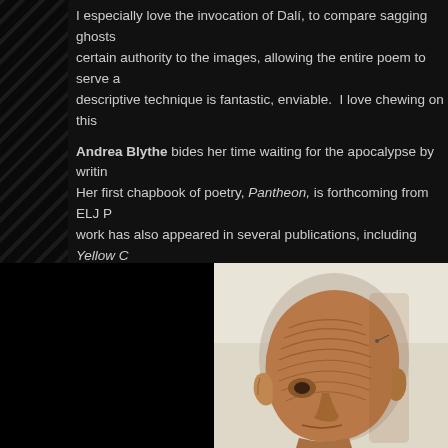I especially love the invocation of Dalí, to compare sagging ghosts certain authority to the images, allowing the entire poem to serve a descriptive technique is fantastic, enviable. I love chewing on this
Andrea Blythe bides her time waiting for the apocalypse by writin Her first chapbook of poetry, Pantheon, is forthcoming from ELJ P work has also appeared in several publications, including Yellow C Linden Avenue, and Strange Horizons. She serves as an associat member of the Science Fiction Poetry Association. Learn more at
[Figure (photo): A terracotta or clay sculptured head, appears to be an African artifact. The head is viewed from a three-quarter angle, showing ridged linear patterns on the scalp, large ears, and stylized facial features. Background is light/cream colored.]